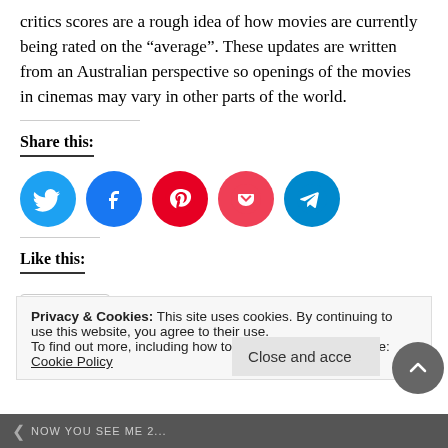critics scores are a rough idea of how movies are currently being rated on the “average”. These updates are written from an Australian perspective so openings of the movies in cinemas may vary in other parts of the world.
Share this:
[Figure (infographic): Row of five social media share buttons: Twitter (blue), Facebook (dark blue), Pinterest (red), Pocket (pink-red), Telegram (blue)]
Like this:
[Figure (infographic): Like button widget with a star icon and the word Like]
Be the first to like this.
Privacy & Cookies: This site uses cookies. By continuing to use this website, you agree to their use. To find out more, including how to control cookies, see here: Cookie Policy
Close and accept